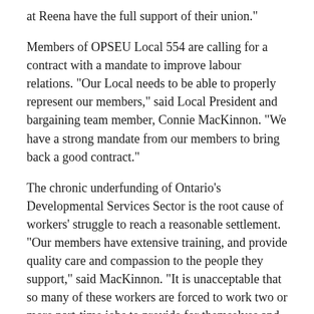at Reena have the full support of their union."
Members of OPSEU Local 554 are calling for a contract with a mandate to improve labour relations. "Our Local needs to be able to properly represent our members," said Local President and bargaining team member, Connie MacKinnon. "We have a strong mandate from our members to bring back a good contract."
The chronic underfunding of Ontario's Developmental Services Sector is the root cause of workers' struggle to reach a reasonable settlement. "Our members have extensive training, and provide quality care and compassion to the people they support," said MacKinnon. "It is unacceptable that so many of these workers are forced to work two or more part-time jobs to provide for themselves and their families."
There are 435 OPSEU members working at Reena. They provide support and services to close to one